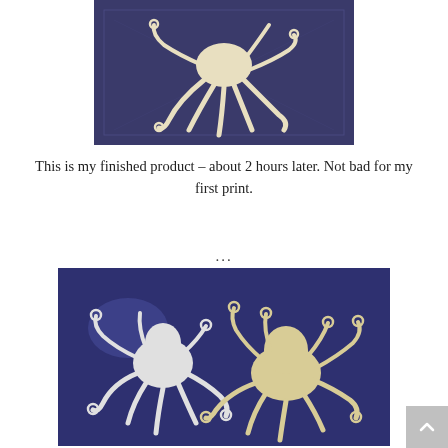[Figure (photo): A white 3D-printed octopus model lying flat on a blue plastic sheet, viewed from above.]
This is my finished product – about 2 hours later. Not bad for my first print.
...
[Figure (photo): Two white 3D-printed octopus models on a blue surface — one smaller/incomplete on the left and one larger/complete on the right.]